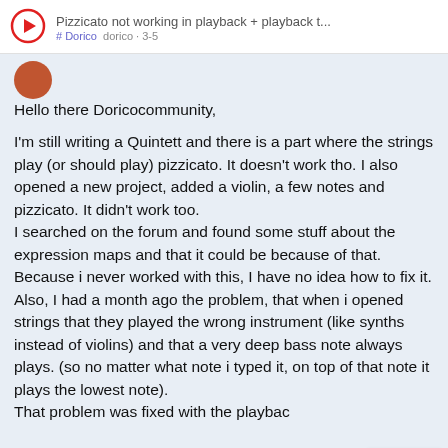Pizzicato not working in playback + playback t... # Dorico · dorico · 3-5
Hello there Doricocommunity,

I'm still writing a Quintett and there is a part where the strings play (or should play) pizzicato. It doesn't work tho. I also opened a new project, added a violin, a few notes and pizzicato. It didn't work too.
I searched on the forum and found some stuff about the expression maps and that it could be because of that. Because i never worked with this, I have no idea how to fix it.
Also, I had a month ago the problem, that when i opened strings that they played the wrong instrument (like synths instead of violins) and that a very deep bass note always plays. (so no matter what note i typed it, on top of that note it plays the lowest note).
That problem was fixed with the playbac
1 / 18